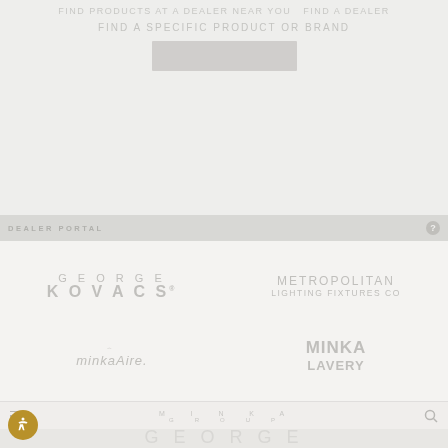FIND PRODUCTS AT A DEALER NEAR YOU. FIND A DEALER
FIND A SPECIFIC PRODUCT OR BRAND
DEALER PORTAL
[Figure (logo): George Kovacs brand logo]
[Figure (logo): Metropolitan Lighting Fixtures Co logo]
[Figure (logo): minkaAire brand logo]
[Figure (logo): Minka Lavery brand logo]
[Figure (logo): Minka Group navigation bar logo]
[Figure (logo): George Kovacs large background logo at bottom]